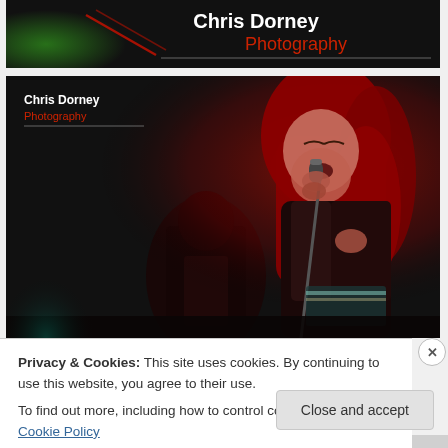[Figure (photo): Chris Dorney Photography website header banner. Dark background with green light blur on left, red diagonal streak, and white 'Chris Dorney' text with red 'Photography' text on the right.]
[Figure (photo): Photography website main content area showing a live performance photo. A woman with long red hair sings into a microphone under red stage lighting. A second performer is visible in the background. The Chris Dorney Photography logo is overlaid in the top left corner.]
Privacy & Cookies: This site uses cookies. By continuing to use this website, you agree to their use.
To find out more, including how to control cookies, see here: Cookie Policy
Close and accept